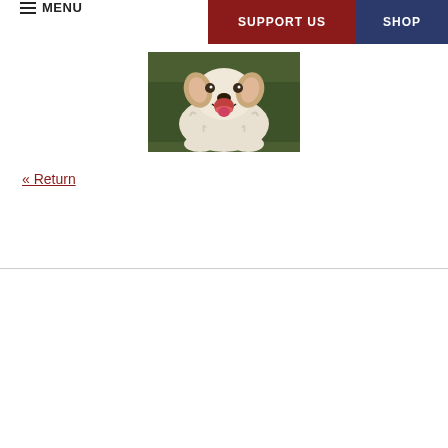MENU | SUPPORT US | SHOP
[Figure (photo): A white fluffy dog lying on green grass, mouth open, looking at the camera]
« Return
[Figure (logo): Shelter to Soldier circular logo with silhouette of soldier kneeling with dog and a star]
Donate